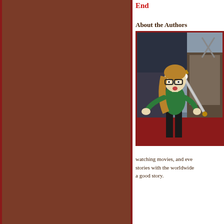[Figure (illustration): Brown/dark red decorative panel on the left side of the page, possibly a book page background]
End
About the Authors
[Figure (illustration): Cartoon/bitmoji style illustration of a woman with glasses, long brown hair in a ponytail, wearing a green top and black pants, holding a large sword in a fantasy throne room setting]
watching movies, and eve stories with the worldwide a good story.